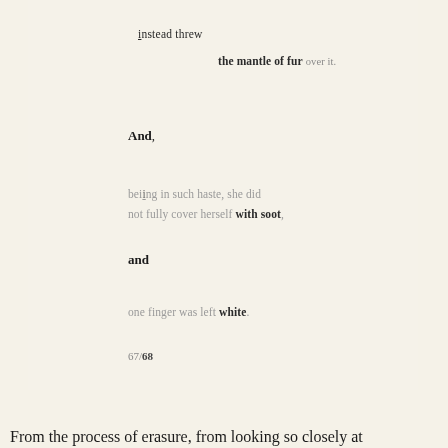instead threw
the mantle of fur over it.
And,
being in such haste, she did not fully cover herself with soot,
and
one finger was left white.
67/68
From the process of erasure, from looking so closely at